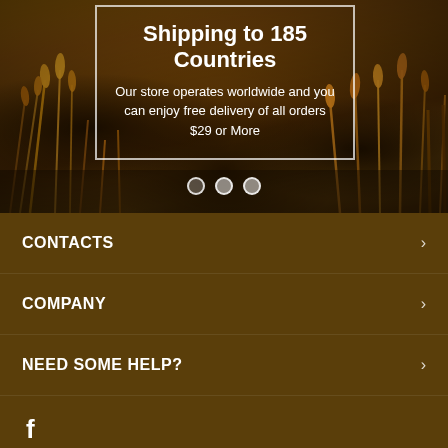[Figure (photo): Wheat field background photo with golden/amber stalks of grain, dark overlay, showing a hero banner image for an e-commerce website]
Shipping to 185 Countries
Our store operates worldwide and you can enjoy free delivery of all orders $29 or More
CONTACTS
COMPANY
NEED SOME HELP?